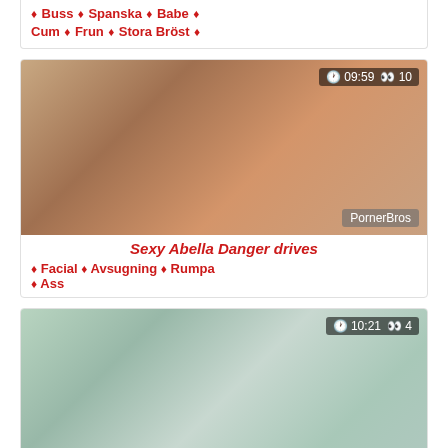♦ Buss ♦ Spanska ♦ Babe ♦ Cum ♦ Frun ♦ Stora Bröst ♦
[Figure (photo): Thumbnail for Sexy Abella Danger drives video, 09:59 duration, 10 views, PornerBros watermark]
Sexy Abella Danger drives
♦ Facial ♦ Avsugning ♦ Rumpa ♦ Ass
[Figure (photo): Thumbnail for Sexy Alita Angel Coed video, 10:21 duration, 4 views, PornerBros watermark]
Sexy Alita Angel Coed
♦ Underkläder ♦ Ridning ♦